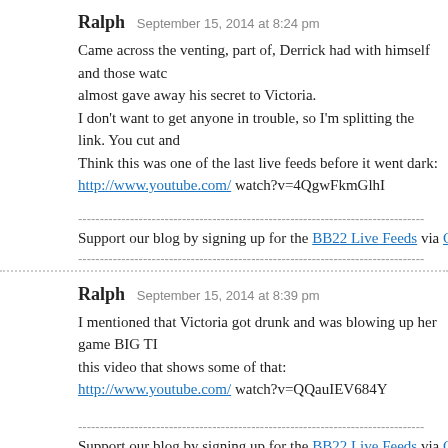Ralph   September 15, 2014 at 8:24 pm
Came across the venting, part of, Derrick had with himself and those watc almost gave away his secret to Victoria.
I don't want to get anyone in trouble, so I'm splitting the link. You cut and
Think this was one of the last live feeds before it went dark:
http://www.youtube.com/ watch?v=4QgwFkmGlhI
Support our blog by signing up for the BB22 Live Feeds via CBS All Acce
Ralph   September 15, 2014 at 8:39 pm
I mentioned that Victoria got drunk and was blowing up her game BIG TI this video that shows some of that:
http://www.youtube.com/ watch?v=QQauIEV684Y
Support our blog by signing up for the BB22 Live Feeds via CBS All Acce